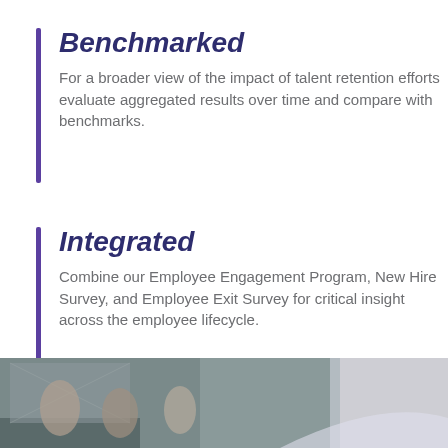Benchmarked
For a broader view of the impact of talent retention efforts evaluate aggregated results over time and compare with benchmarks.
Integrated
Combine our Employee Engagement Program, New Hire Survey, and Employee Exit Survey for critical insight across the employee lifecycle.
[Figure (photo): Photo of people outdoors near a building, partially visible at the bottom of the page.]